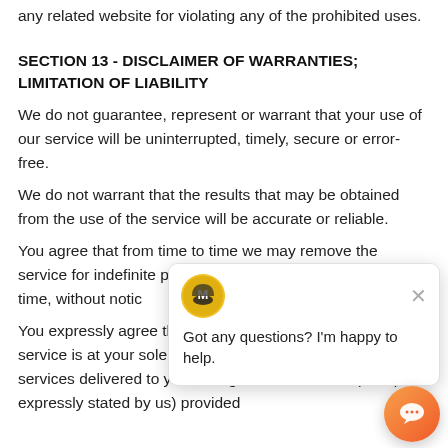any related website for violating any of the prohibited uses.
SECTION 13 - DISCLAIMER OF WARRANTIES; LIMITATION OF LIABILITY
We do not guarantee, represent or warrant that your use of our service will be uninterrupted, timely, secure or error-free.
We do not warrant that the results that may be obtained from the use of the service will be accurate or reliable.
You agree that from time to time we may remove the service for indefinite periods of time or cancel the service at any time, without notice.
You expressly agree that your use of, or inability to use, the service is at your sole risk. The service and all products and services delivered to you through the service are (except as expressly stated by us) provided
[Figure (other): Chat support popup with logo and message 'Got any questions? I'm happy to help.' with a close button, and an orange chat button in the bottom right corner.]